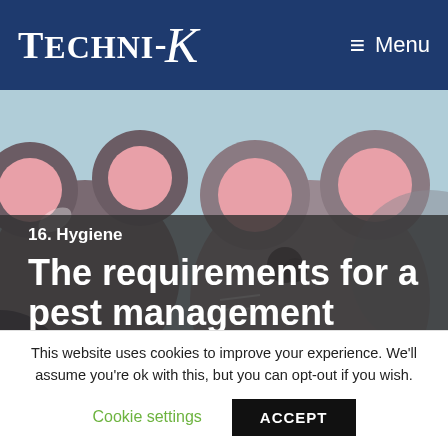[Figure (logo): Techni-K logo in white on dark navy background with stylized cursive K]
≡ Menu
[Figure (illustration): Cartoon illustration of mice/rats with round heads and pink cheeks on a light blue background]
16. Hygiene
The requirements for a pest management
This website uses cookies to improve your experience. We'll assume you're ok with this, but you can opt-out if you wish.
Cookie settings   ACCEPT